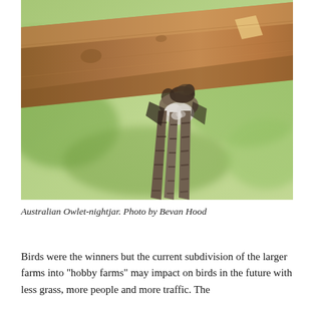[Figure (photo): Close-up photograph of an Australian Owlet-nightjar clinging to the underside of a wooden branch. The bird's striped brown and white tail feathers hang downward. The background is blurred green foliage. Photo by Bevan Hood.]
Australian Owlet-nightjar. Photo by Bevan Hood
Birds were the winners but the current subdivision of the larger farms into “hobby farms” may impact on birds in the future with less grass, more people and more traffic. The